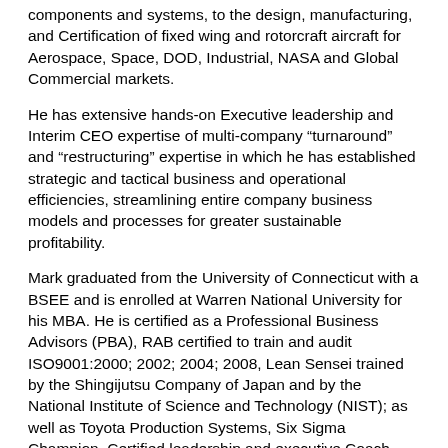components and systems, to the design, manufacturing, and Certification of fixed wing and rotorcraft aircraft for Aerospace, Space, DOD, Industrial, NASA and Global Commercial markets.
He has extensive hands-on Executive leadership and Interim CEO expertise of multi-company “turnaround” and “restructuring” expertise in which he has established strategic and tactical business and operational efficiencies, streamlining entire company business models and processes for greater sustainable profitability.
Mark graduated from the University of Connecticut with a BSEE and is enrolled at Warren National University for his MBA. He is certified as a Professional Business Advisors (PBA), RAB certified to train and audit ISO9001:2000; 2002; 2004; 2008, Lean Sensei trained by the Shingijutsu Company of Japan and by the National Institute of Science and Technology (NIST); as well as Toyota Production Systems, Six Sigma Champion, Certified leadership and executive Coach, and multi-board member including chairman of the board.